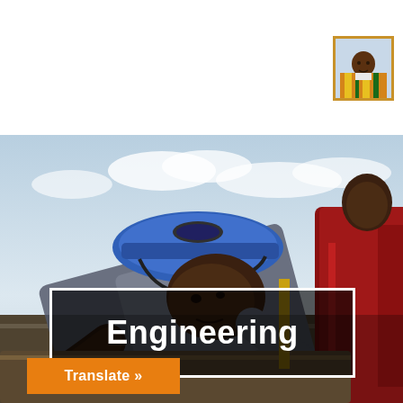[Figure (photo): Profile photo of a man wearing traditional African kente cloth, framed with a golden border, displayed in the top-right header area of a website.]
[Figure (photo): Construction scene showing a man wearing a blue hard hat leaning over work, with another person in a red jacket visible to the right. Sky with clouds in the background.]
Engineering
Translate »